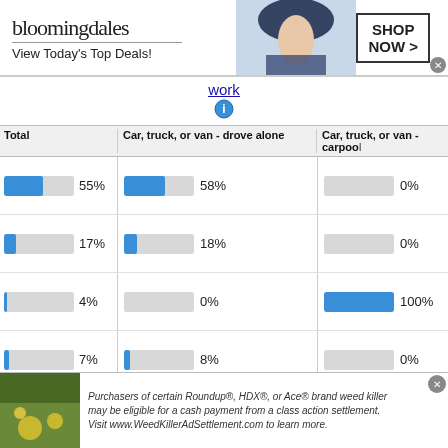[Figure (other): Bloomingdales advertisement banner: logo, 'View Today's Top Deals!', model image, 'SHOP NOW >' button]
work
[Figure (infographic): Info icon (circle with i)]
| Total | Car, truck, or van - drove alone | Car, truck, or van - carpool |
| --- | --- | --- |
| 55% | 58% | 0% |
| 17% | 18% | 0% |
| 4% | 0% | 100% |
| 7% | 8% | 0% |
[Figure (other): Weed killer class action lawsuit advertisement banner]